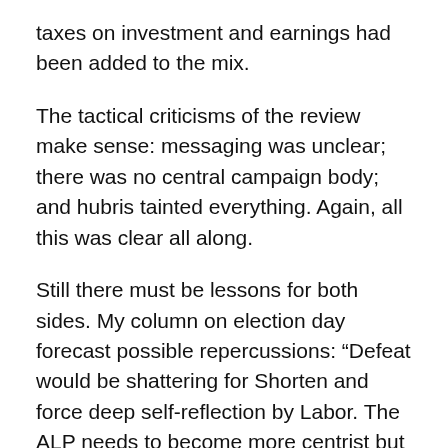taxes on investment and earnings had been added to the mix.
The tactical criticisms of the review make sense: messaging was unclear; there was no central campaign body; and hubris tainted everything. Again, all this was clear all along.
Still there must be lessons for both sides. My column on election day forecast possible repercussions: “Defeat would be shattering for Shorten and force deep self-reflection by Labor. The ALP needs to become more centrist but a loss could see it venture further left.”
I am happy to stand by that shorthand prediction and reckon the election review does nothing to guard against this danger. Labor now has a Socialist Left leader and